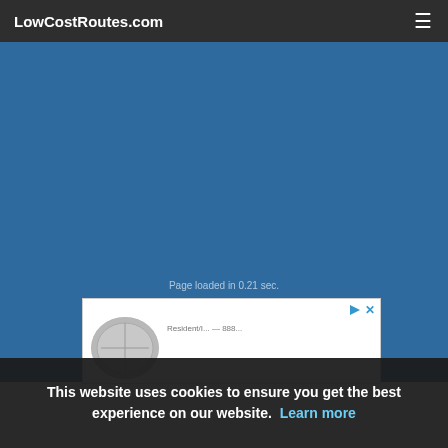LowCostRoutes.com
Page loaded in 0.21 sec.
[Figure (screenshot): Advertisement box with play and close icons, circular image placeholder, and partial advertiser text]
This website uses cookies to ensure you get the best experience on our website. Learn more